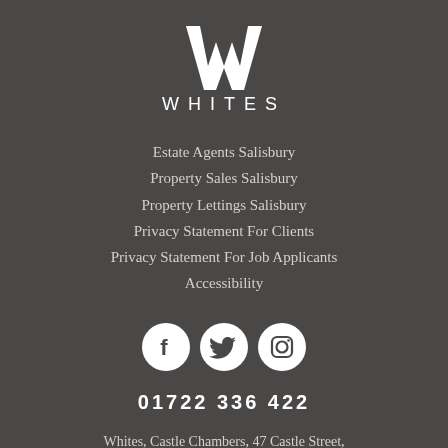[Figure (logo): Whites Estate Agents logo: large stylized W above the word WHITES in spaced capitals]
Estate Agents Salisbury
Property Sales Salisbury
Property Lettings Salisbury
Privacy Statement For Clients
Privacy Statement For Job Applicants
Accessibility
[Figure (illustration): Three white circular social media icons: Facebook (f), Twitter (bird), Instagram (camera)]
01722 336 422
Whites, Castle Chambers, 47 Castle Street, Salisbury, Wiltshire, SP1 3SP,